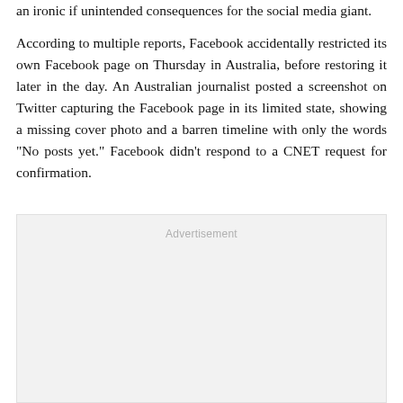an ironic if unintended consequences for the social media giant.
According to multiple reports, Facebook accidentally restricted its own Facebook page on Thursday in Australia, before restoring it later in the day. An Australian journalist posted a screenshot on Twitter capturing the Facebook page in its limited state, showing a missing cover photo and a barren timeline with only the words "No posts yet." Facebook didn't respond to a CNET request for confirmation.
[Figure (other): Advertisement placeholder box]